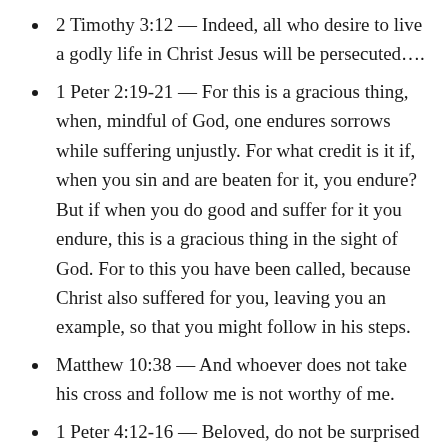2 Timothy 3:12 — Indeed, all who desire to live a godly life in Christ Jesus will be persecuted….
1 Peter 2:19-21 — For this is a gracious thing, when, mindful of God, one endures sorrows while suffering unjustly. For what credit is it if, when you sin and are beaten for it, you endure? But if when you do good and suffer for it you endure, this is a gracious thing in the sight of God. For to this you have been called, because Christ also suffered for you, leaving you an example, so that you might follow in his steps.
Matthew 10:38 — And whoever does not take his cross and follow me is not worthy of me.
1 Peter 4:12-16 — Beloved, do not be surprised at